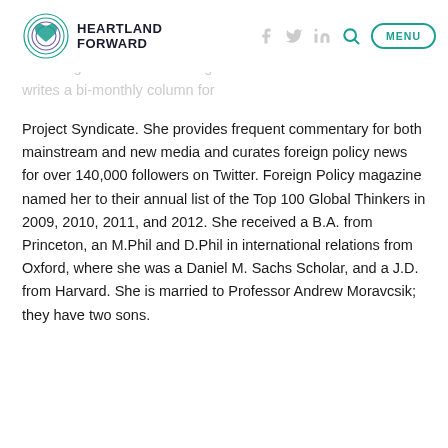Heartland Forward — navigation header with logo, social icons, search, and menu
Dr. Slaughter is a contributing editor to the Financial Times and writes a bi-monthly column for Project Syndicate. She provides frequent commentary for both mainstream and new media and curates foreign policy news for over 140,000 followers on Twitter. Foreign Policy magazine named her to their annual list of the Top 100 Global Thinkers in 2009, 2010, 2011, and 2012. She received a B.A. from Princeton, an M.Phil and D.Phil in international relations from Oxford, where she was a Daniel M. Sachs Scholar, and a J.D. from Harvard. She is married to Professor Andrew Moravcsik; they have two sons.